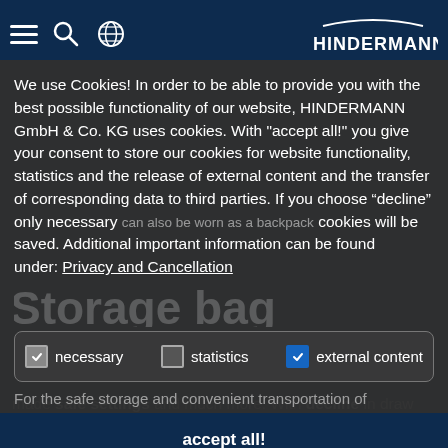[Figure (screenshot): Hindermann website navigation bar with hamburger menu, search icon, globe icon, and HINDERMANN logo on dark navy background]
We use Cookies! In order to be able to provide you with the best possible functionality of our website, HINDERMANN GmbH & Co. KG uses cookies. With "accept all!" you give your consent to store our cookies for website functionality, statistics and the release of external content and the transfer of corresponding data to third parties. If you choose “decline” only necessary cookies will be saved. Additional important information can be found under: Privacy and Cancellation
necessary   statistics   external content
accept all!
made safe settings and much more. With decline in draw cord and stopper for closing. These universal